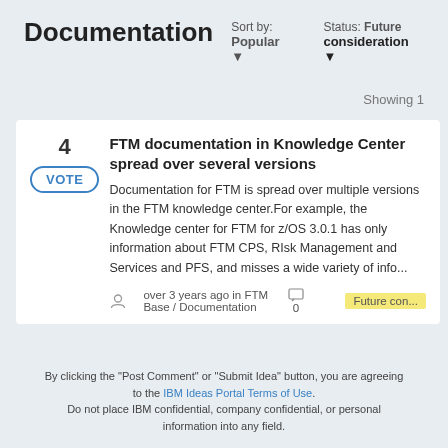Documentation
Sort by: Popular ▼
Status: Future consideration ▼
Showing 1
FTM documentation in Knowledge Center spread over several versions
Documentation for FTM is spread over multiple versions in the FTM knowledge center.For example, the Knowledge center for FTM for z/OS 3.0.1 has only information about FTM CPS, RIsk Management and Services and PFS, and misses a wide variety of info...
over 3 years ago in FTM Base / Documentation  □ 0  Future con...
By clicking the "Post Comment" or "Submit Idea" button, you are agreeing to the IBM Ideas Portal Terms of Use. Do not place IBM confidential, company confidential, or personal information into any field.